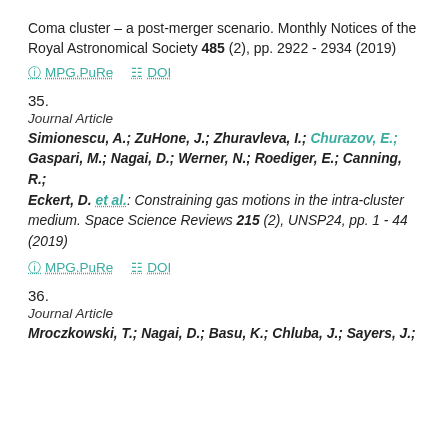Coma cluster – a post-merger scenario. Monthly Notices of the Royal Astronomical Society 485 (2), pp. 2922 - 2934 (2019)
MPG.PuRe   DOI
35.
Journal Article
Simionescu, A.; ZuHone, J.; Zhuravleva, I.; Churazov, E.; Gaspari, M.; Nagai, D.; Werner, N.; Roediger, E.; Canning, R.; Eckert, D. et al.: Constraining gas motions in the intra-cluster medium. Space Science Reviews 215 (2), UNSP24, pp. 1 - 44 (2019)
MPG.PuRe   DOI
36.
Journal Article
Mroczkowski, T.; Nagai, D.; Basu, K.; Chluba, J.; Sayers, J.;